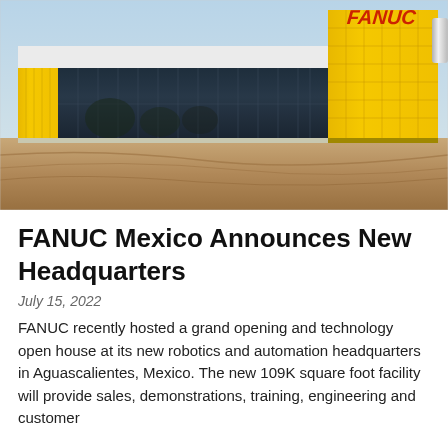[Figure (photo): Exterior photo of FANUC Mexico headquarters building in Aguascalientes. Modern facility with large glass facade, white walls, and a tall yellow FANUC-branded tower on the right with red FANUC lettering. Sandy/rusty colored ground in the foreground with curved driveway markings.]
FANUC Mexico Announces New Headquarters
July 15, 2022
FANUC recently hosted a grand opening and technology open house at its new robotics and automation headquarters in Aguascalientes, Mexico. The new 109K square foot facility will provide sales, demonstrations, training, engineering and customer